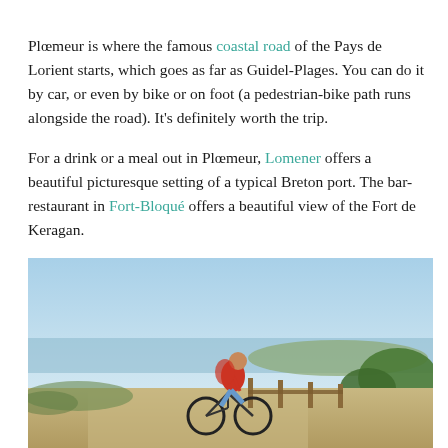Plœmeur is where the famous coastal road of the Pays de Lorient starts, which goes as far as Guidel-Plages. You can do it by car, or even by bike or on foot (a pedestrian-bike path runs alongside the road). It's definitely worth the trip.
For a drink or a meal out in Plœmeur, Lomener offers a beautiful picturesque setting of a typical Breton port. The bar-restaurant in Fort-Bloqué offers a beautiful view of the Fort de Keragan.
[Figure (photo): A person riding a bicycle along a coastal path on a sunny day. The rider wears a red top and denim shorts, with a clear blue sky, ocean, and green shrubbery visible in the background.]